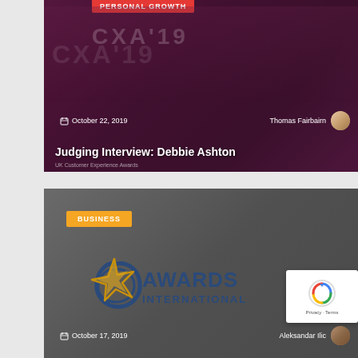[Figure (photo): Card 1: Dark purple-toned photo of hands holding a smartphone showing CXA'19 event. Has a red 'PERSONAL GROWTH' tag at top (partially cut off), date 'October 22, 2019', author 'Thomas Fairbairn' with avatar, title 'Judging Interview: Debbie Ashton', and 'UK Customer Experience Awards' branding.]
October 22, 2019    Thomas Fairbairn
Judging Interview: Debbie Ashton
[Figure (photo): Card 2: Dark grey background card with gold 'BUSINESS' tag, Awards International logo (star and circular design), date 'October 17, 2019', author 'Aleksandar Ilic' with avatar. reCAPTCHA widget visible in bottom-right corner.]
October 17, 2019    Aleksandar Ilic